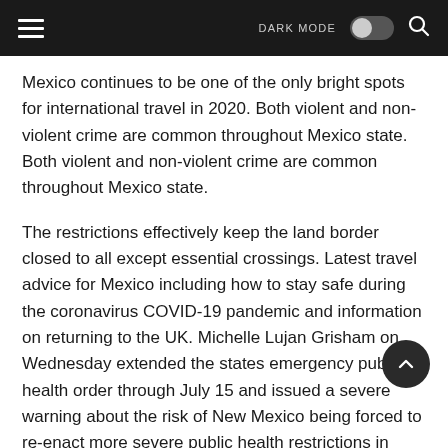DARK MODE [toggle] [search]
Mexico continues to be one of the only bright spots for international travel in 2020. Both violent and non-violent crime are common throughout Mexico state. Both violent and non-violent crime are common throughout Mexico state.
The restrictions effectively keep the land border closed to all except essential crossings. Latest travel advice for Mexico including how to stay safe during the coronavirus COVID-19 pandemic and information on returning to the UK. Michelle Lujan Grisham on Wednesday extended the states emergency public health order through July 15 and issued a severe warning about the risk of New Mexico being forced to re-enact more severe public health restrictions in order to.
Do NOT travel if you were exposed to COVID-19 you are sick or you test positive for COVID-19. New Mexico at risk...